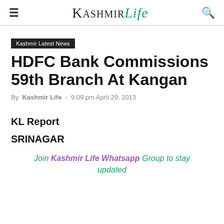Kashmir Life
Kashmir Latest News
HDFC Bank Commissions 59th Branch At Kangan
By Kashmir Life - 9:09 pm April 29, 2013
KL Report
SRINAGAR
Join Kashmir Life Whatsapp Group to stay updated